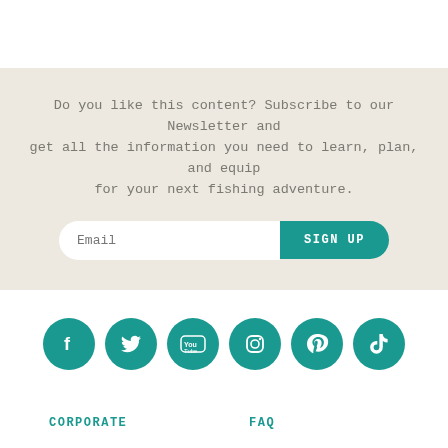Do you like this content? Subscribe to our Newsletter and get all the information you need to learn, plan, and equip for your next fishing adventure.
Email
SIGN UP
[Figure (infographic): Six circular teal social media icons in a row: Facebook, Twitter, YouTube, Instagram, Pinterest, TikTok]
CORPORATE
FAQ
NEWSROOM
CONTACT US
DONATE
TERMS OF USE